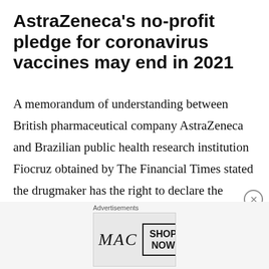AstraZeneca's no-profit pledge for coronavirus vaccines may end in 2021
A memorandum of understanding between British pharmaceutical company AstraZeneca and Brazilian public health research institution Fiocruz obtained by The Financial Times stated the drugmaker has the right to declare the pandemic's end by July 2021. Under the document's terms, AstraZeneca will also be providing doses of its coronavirus vaccine – developed in tandem with the University of Oxford – on a cost
Advertisements
[Figure (photo): MAC Cosmetics advertisement banner showing lipsticks in purple, pink, and red with MAC logo and SHOP NOW button]